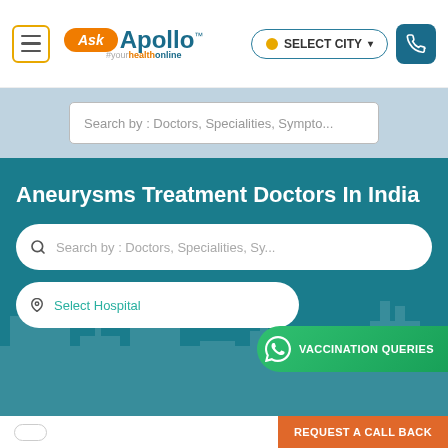[Figure (screenshot): Ask Apollo website screenshot showing header with hamburger menu, Ask Apollo logo, SELECT CITY button and phone button]
Search by : Doctors, Specialities, Sympto...
Aneurysms Treatment Doctors In India
Search by : Doctors, Specialities, Sy...
Select Hospital
VACCINATION QUERIES
REQUEST A CALL BACK